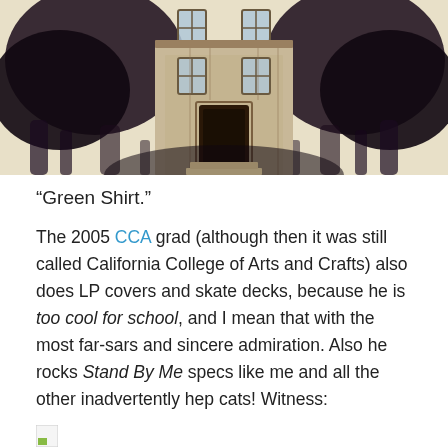[Figure (illustration): Dark ink illustration of a Victorian-style house surrounded by dark, smoky or ink-washed trees on a cream/pale yellow background. The image has a dramatic, gothic feel with heavy black ink around the trees and building.]
“Green Shirt.”
The 2005 CCA grad (although then it was still called California College of Arts and Crafts) also does LP covers and skate decks, because he is too cool for school, and I mean that with the most far-sars and sincere admiration. Also he rocks Stand By Me specs like me and all the other inadvertently hep cats! Witness:
[Figure (photo): Broken/missing image placeholder icon (small green corner icon)]
My E... [text cut off at bottom]